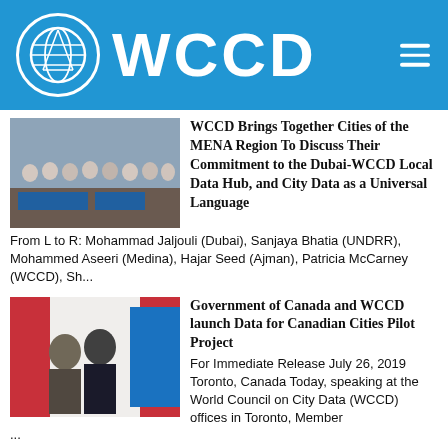WCCD
[Figure (photo): Group photo at UN-Habitat Cities event]
WCCD Brings Together Cities of the MENA Region To Discuss Their Commitment to the Dubai-WCCD Local Data Hub, and City Data as a Universal Language
From L to R: Mohammad Jaljouli (Dubai), Sanjaya Bhatia (UNDRR), Mohammed Aseeri (Medina), Hajar Seed (Ajman), Patricia McCarney (WCCD), Sh...
[Figure (photo): Two people standing in front of a Canadian flag and WCCD banner]
Government of Canada and WCCD launch Data for Canadian Cities Pilot Project
For Immediate Release July 26, 2019 Toronto, Canada Today, speaking at the World Council on City Data (WCCD) offices in Toronto, Member ...
[Figure (photo): Two women at an event]
WCCD Focuses on City Resilience at UN World Urban Forum, Alongside UN & Global Partners